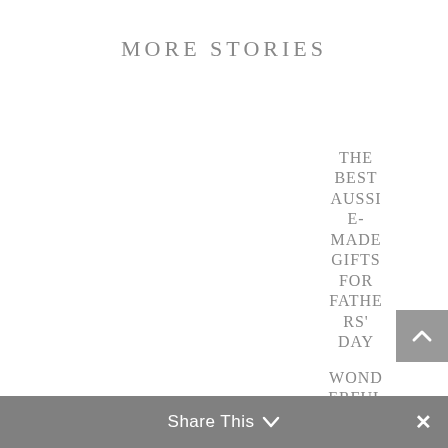MORE STORIES
THE BEST AUSSIE-MADE GIFTS FOR FATHERS' DAY
[Figure (other): Scroll to top button with upward chevron arrow, gray background]
WONDERFUL WILDLIFE ENCOUNTERS ON
Share This ∨  ✕